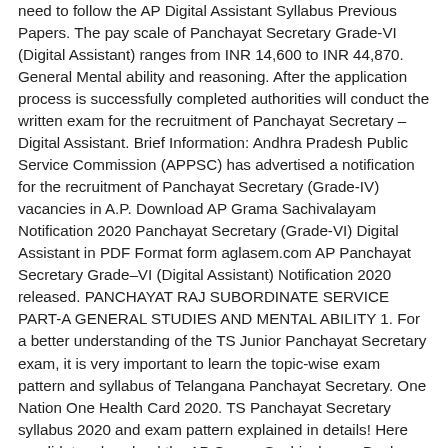need to follow the AP Digital Assistant Syllabus Previous Papers. The pay scale of Panchayat Secretary Grade-VI (Digital Assistant) ranges from INR 14,600 to INR 44,870. General Mental ability and reasoning. After the application process is successfully completed authorities will conduct the written exam for the recruitment of Panchayat Secretary – Digital Assistant. Brief Information: Andhra Pradesh Public Service Commission (APPSC) has advertised a notification for the recruitment of Panchayat Secretary (Grade-IV) vacancies in A.P. Download AP Grama Sachivalayam Notification 2020 Panchayat Secretary (Grade-VI) Digital Assistant in PDF Format form aglasem.com AP Panchayat Secretary Grade–VI (Digital Assistant) Notification 2020 released. PANCHAYAT RAJ SUBORDINATE SERVICE PART-A GENERAL STUDIES AND MENTAL ABILITY 1. For a better understanding of the TS Junior Panchayat Secretary exam, it is very important to learn the topic-wise exam pattern and syllabus of Telangana Panchayat Secretary. One Nation One Health Card 2020. TS Panchayat Secretary syllabus 2020 and exam pattern explained in details! Here candidates download the AP Grama Sachivalayam Books 2020 for Panchayat Secretary Post and start your preparation. Name of the Post: APPSC Panchayat Secretary (Grade IV) DV List Released Post Date: 22-12-2018. Therefore, AP Grama Sachivalayam Panchayat Secretary Syllabus 2020 is essential. AP Digital Assistant Syllabus 2020. Now the AP Grama Sachivalayam Syllabus 2020 for the Village Secretary and other